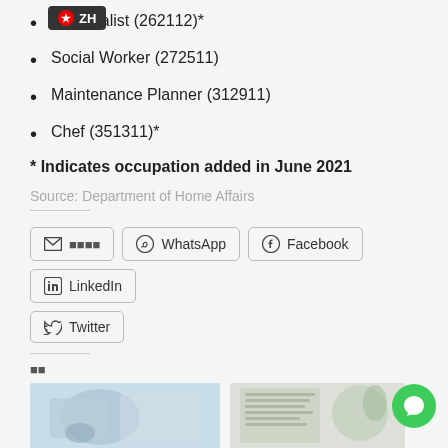r Specialist (262112)*
Social Worker (272511)
Maintenance Planner (312911)
Chef (351311)*
* Indicates occupation added in June 2021
Source: Department of Home Affairs
[Figure (screenshot): Social share buttons: Email, WhatsApp, Facebook, LinkedIn, Twitter]
[Figure (photo): Two photos at bottom: left shows a scientist/lab worker in blue gloves and hair cover with microscope; right shows a notebook and plant on a desk]